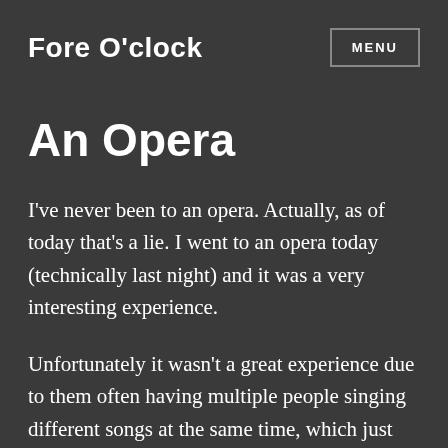Fore O'clock
An Opera
I've never been to an opera. Actually, as of today that's a lie. I went to an opera today (technically last night) and it was a very interesting experience.
Unfortunately it wasn't a great experience due to them often having multiple people singing different songs at the same time, which just ended up drowning each other out and making